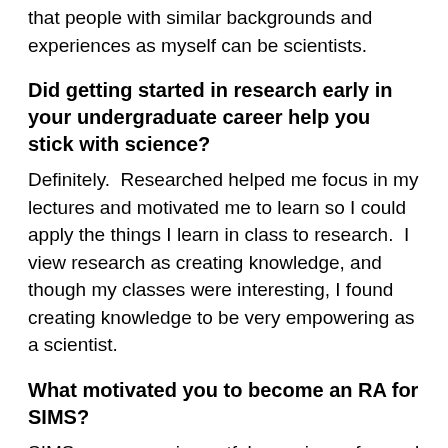that people with similar backgrounds and experiences as myself can be scientists.
Did getting started in research early in your undergraduate career help you stick with science?
Definitely.  Researched helped me focus in my lectures and motivated me to learn so I could apply the things I learn in class to research.  I view research as creating knowledge, and though my classes were interesting, I found creating knowledge to be very empowering as a scientist.
What motivated you to become an RA for SIMS?
SIMS was a very impactful experience for me I wanted the opportunity to mentor students through that experience.  I utilize a lot of resources on campus, and I wanted to be their guide for when they first arrived at